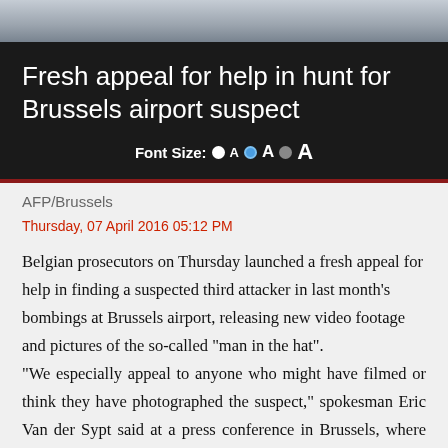[Figure (photo): Partial photo strip at top of page showing a scene related to Brussels airport]
Fresh appeal for help in hunt for Brussels airport suspect
Font Size: A A A
AFP/Brussels
Thursday, 07 April 2016 05:12 PM
Belgian prosecutors on Thursday launched a fresh appeal for help in finding a suspected third attacker in last month's bombings at Brussels airport, releasing new video footage and pictures of the so-called "man in the hat".
"We especially appeal to anyone who might have filmed or think they have photographed the suspect," spokesman Eric Van der Sypt said at a press conference in Brussels, where prosecutors